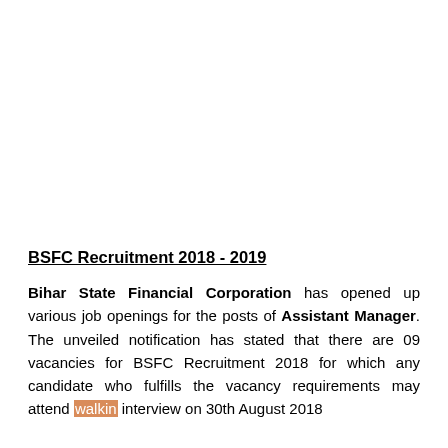BSFC Recruitment 2018 - 2019
Bihar State Financial Corporation has opened up various job openings for the posts of Assistant Manager. The unveiled notification has stated that there are 09 vacancies for BSFC Recruitment 2018 for which any candidate who fulfills the vacancy requirements may attend walkin interview on 30th August 2018